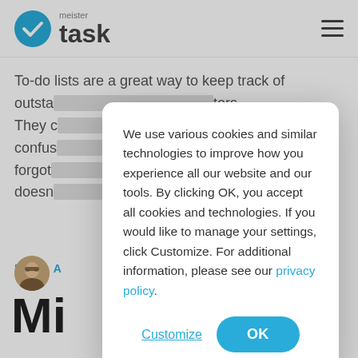meister task
To-do lists are a great way to keep track of outstanding tasks and help them remember contributors. They can also be confusing, too confusing. forgot doesn't
READ A
[Figure (photo): Author avatar photo - woman with glasses]
Mi
[Figure (screenshot): Cookie consent modal dialog with text: We use various cookies and similar technologies to improve how you experience all our website and our tools. By clicking OK, you accept all cookies and technologies. If you would like to manage your settings, click Customize. For additional information, please see our privacy policy. Buttons: Customize, OK]